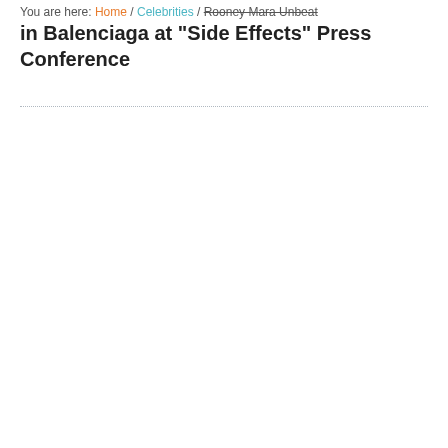You are here: Home / Celebrities / Rooney Mara Unbeat in Balenciaga at "Side Effects" Press Conference